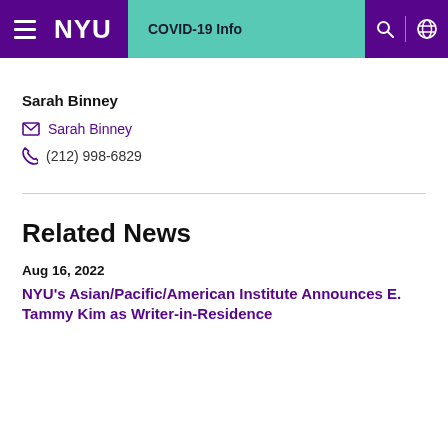NYU | COVID-19 Info
Sarah Binney
Sarah Binney (email link)
(212) 998-6829
Related News
Aug 16, 2022
NYU's Asian/Pacific/American Institute Announces E. Tammy Kim as Writer-in-Residence